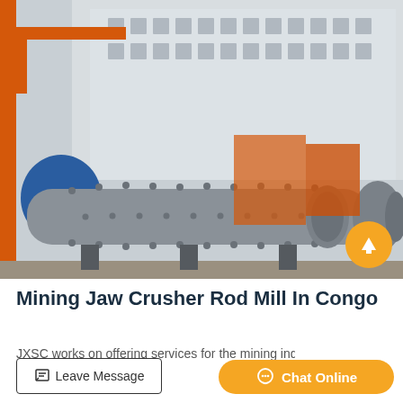[Figure (photo): Industrial rod mill / ball mill machine in grey color on a factory floor, with orange overhead crane structure and other heavy machinery in the background.]
Mining Jaw Crusher Rod Mill In Congo
JXSC works on offering services for the mining industry and...
Leave Message
Chat Online